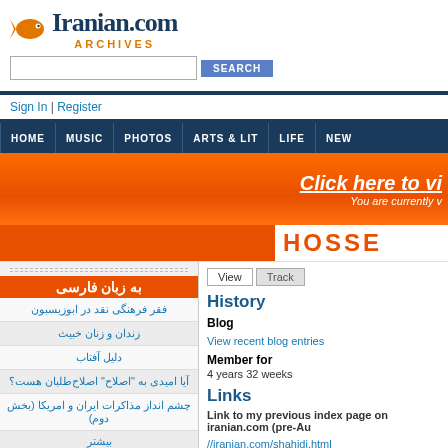[Figure (logo): Iranian.com Archives logo with orange fish and dark blue text]
Sign In | Register
HOME | MUSIC | PHOTOS | ARTS & LIT | LIFE | NEW
[Figure (banner): Orange banner reading 'Click here to vi... You are currently v...']
HOSSE
[Figure (infographic): به زبان فارسی section with Persian language links]
View | Track
History
Blog
View recent blog entries
Member for
4 years 32 weeks
Links
Link to my previous index page on iranian.com (pre-Au //iranian.com/shahidi.html
RECENT CONTR